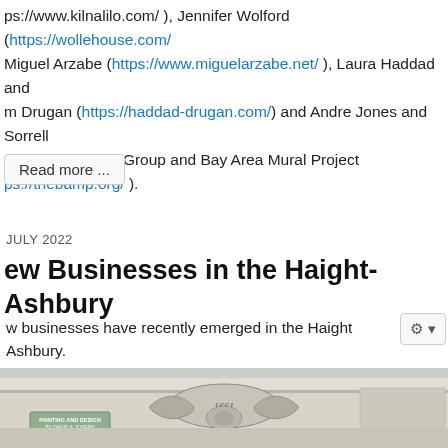ps://www.kilnalilo.com/ ), Jennifer Wolford (https://wollehouse.com/ Miguel Arzabe (https://www.miguelarzabe.net/ ), Laura Haddad and m Drugan (https://haddad-drugan.com/) and Andre Jones and Sorrell ni of the ABG Art Group and Bay Area Mural Project ps://thebamp.org/ ).
Read more ...
JULY 2022
ew Businesses in the Haight-Ashbury
w businesses have recently emerged in the Haight Ashbury. re are a few:
[Figure (photo): Photograph of an ornate building facade with decorative stonework, scrollwork, and a sign reading 'PAINTING and DESIGN BY DAVID & JOSEPH 415-871-8514'. A number '1661' is visible on the facade.]